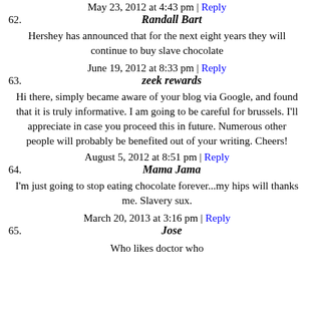May 23, 2012 at 4:43 pm | Reply
62. Randall Bart
Hershey has announced that for the next eight years they will continue to buy slave chocolate
June 19, 2012 at 8:33 pm | Reply
63. zeek rewards
Hi there, simply became aware of your blog via Google, and found that it is truly informative. I am going to be careful for brussels. I'll appreciate in case you proceed this in future. Numerous other people will probably be benefited out of your writing. Cheers!
August 5, 2012 at 8:51 pm | Reply
64. Mama Jama
I'm just going to stop eating chocolate forever...my hips will thanks me. Slavery sux.
March 20, 2013 at 3:16 pm | Reply
65. Jose
Who likes doctor who